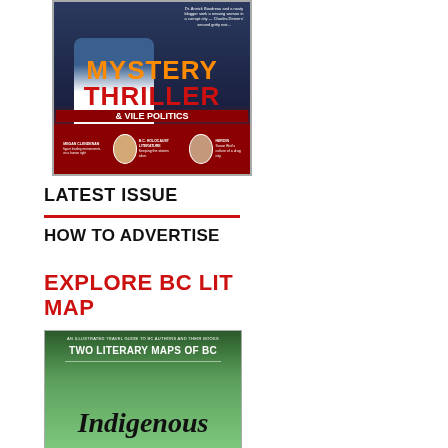[Figure (photo): Magazine cover showing Mystery Thriller & Vile Politics with man in blue jacket, bottom bar with B.C. Holocaust Literature and other sections]
LATEST ISSUE
HOW TO ADVERTISE
EXPLORE BC LIT MAP
[Figure (photo): Cover of Two Literary Maps of BC featuring Indigenous content, green illustrated map background]